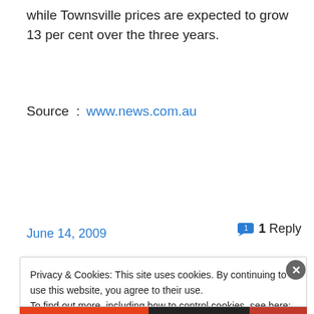while Townsville prices are expected to grow 13 per cent over the three years.
Source  :  www.news.com.au
June 14, 2009
1 Reply
Privacy & Cookies: This site uses cookies. By continuing to use this website, you agree to their use.
To find out more, including how to control cookies, see here: Cookie Policy
Close and accept